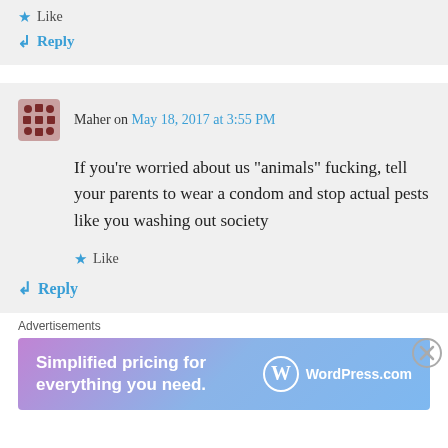Like
↳ Reply
Maher on May 18, 2017 at 3:55 PM
If you're worried about us “animals” fucking, tell your parents to wear a condom and stop actual pests like you washing out society
Like
↳ Reply
Advertisements
[Figure (other): WordPress.com advertisement banner: 'Simplified pricing for everything you need.' with WordPress.com logo]